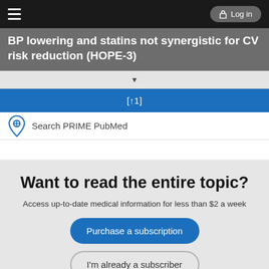Log in
BP lowering and statins not synergistic for CV risk reduction (HOPE-3)
[↑1]
Search PRIME PubMed
Want to read the entire topic?
Access up-to-date medical information for less than $2 a week
Purchase a subscription
I'm already a subscriber
Browse sample topics